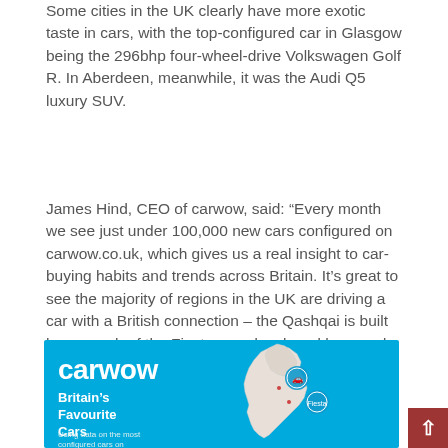Some cities in the UK clearly have more exotic taste in cars, with the top-configured car in Glasgow being the 296bhp four-wheel-drive Volkswagen Golf R. In Aberdeen, meanwhile, it was the Audi Q5 luxury SUV.
James Hind, CEO of carwow, said: “Every month we see just under 100,000 new cars configured on carwow.co.uk, which gives us a real insight to car-buying habits and trends across Britain. It’s great to see the majority of regions in the UK are driving a car with a British connection – the Qashqai is built here, much of the Fiesta was developed here and the Mokka, popular Range Rover and Land Rover models all come from British brands.”
[Figure (infographic): Carwow infographic banner showing 'Britain's Favourite Cars' with a map of Great Britain. Blue background with white carwow logo and white text. Map shows Scotland and England with circular badge icons.]